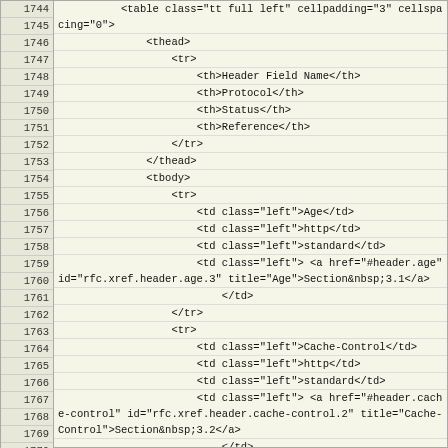Source code listing lines 1744-1771 showing HTML table markup with line numbers. Lines include table element with class tt full left, thead with tr containing th elements for Header Field Name, Protocol, Status, Reference, tbody with tr elements containing td elements for Age/http/standard/Section 3.1, Cache-Control/http/standard/Section 3.2, and beginning of Expires/http/standard entries.